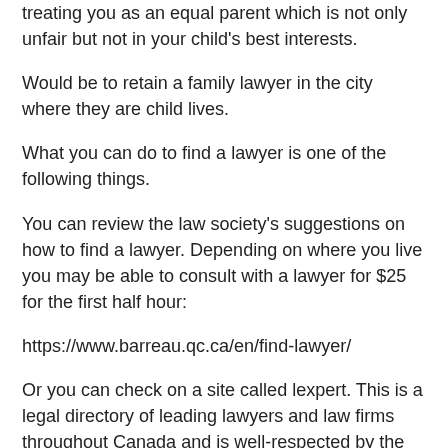treating you as an equal parent which is not only unfair but not in your child's best interests.
Would be to retain a family lawyer in the city where they are child lives.
What you can do to find a lawyer is one of the following things.
You can review the law society's suggestions on how to find a lawyer. Depending on where you live you may be able to consult with a lawyer for $25 for the first half hour:
https://www.barreau.qc.ca/en/find-lawyer/
Or you can check on a site called lexpert. This is a legal directory of leading lawyers and law firms throughout Canada and is well-respected by the legal community. Here's the link to their website:
http://www.lexpert.ca/directory/find-lawyers-or-law-firms/
Does that help as a starting point?